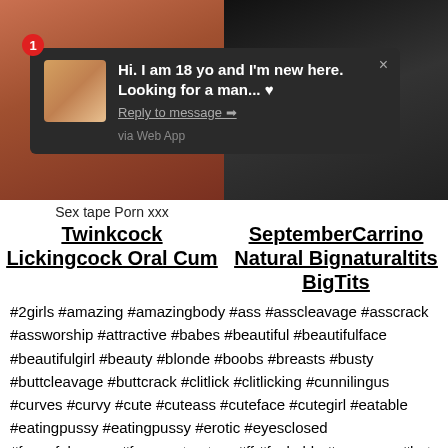[Figure (photo): Two photos side by side: left shows a couple, right shows a woman in dark clothing. A dark notification popup overlays the top portion reading: '1 - Hi. I am 18 yo and I'm new here. Looking for a man... ♥ Reply to message → via Web App']
Sex tape Porn xxx
Twinkcock Lickingcock Oral Cum
SeptemberCarrino Natural Bignaturaltits BigTits
#2girls #amazing #amazingbody #ass #asscleavage #asscrack #assworship #attractive #babes #beautiful #beautifulface #beautifulgirl #beauty #blonde #boobs #breasts #busty #buttcleavage #buttcrack #clitlick #clitlicking #cunnilingus #curves #curvy #cute #cuteass #cuteface #cutegirl #eatable #eatingpussy #eatingpussy #erotic #eyesclosed #faceofpleasure #femmestructure #ff #fuckable #gorgeous #hot #hotbody #hotties #intimacy #lesbianbabies #lesbians #lesbiansluts #lickingpussy #lovely #lust #lustful #lusty #niceass #nicerack #nipples